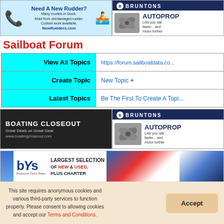[Figure (illustration): Need A New Rudder? advertisement banner - Many models in Stock. Mold from old/damaged rudder. Custom work available. NewRudders.com]
[Figure (illustration): Bruntons Autoprop advertisement - Lets you sail faster... and motor further]
Sailboat Forum
| View All Topics | https://forum.sailboatdata.co... |
| Create Topic | New Topic + |
| Latest Topics | Be The First To Create A Topi... |
[Figure (illustration): Boating Closeout ad - Great Deals on Great Gear - www.boatingcloseout.com]
[Figure (illustration): Bruntons Autoprop advertisement - Lets you sail faster... and motor further]
[Figure (illustration): Bluenose Yacht Sales - bYs - Largest Selection of New & Used, Plus Charter]
[Figure (illustration): Social media icons - Facebook, LinkedIn, Twitter]
This site requires anonymous cookies and various third-party services to function properly. Please consent to allowing cookies and accept our Terms and Conditions.